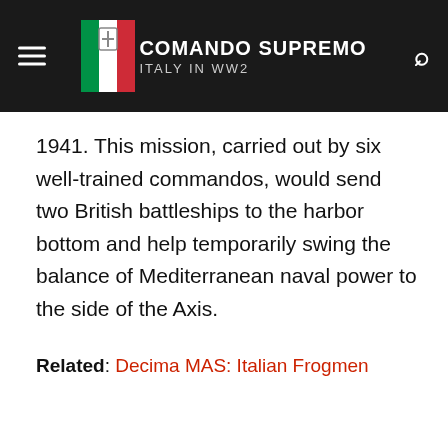Comando Supremo: Italy in WW2
1941. This mission, carried out by six well-trained commandos, would send two British battleships to the harbor bottom and help temporarily swing the balance of Mediterranean naval power to the side of the Axis.
Related: Decima MAS: Italian Frogmen